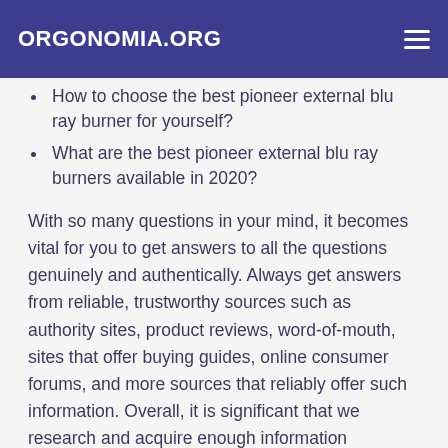ORGONOMIA.ORG
How to choose the best pioneer external blu ray burner for yourself?
What are the best pioneer external blu ray burners available in 2020?
With so many questions in your mind, it becomes vital for you to get answers to all the questions genuinely and authentically. Always get answers from reliable, trustworthy sources such as authority sites, product reviews, word-of-mouth, sites that offer buying guides, online consumer forums, and more sources that reliably offer such information. Overall, it is significant that we research and acquire enough information regarding the best pioneer